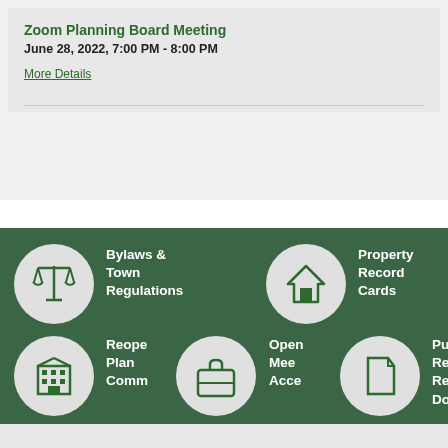Zoom Planning Board Meeting
June 28, 2022, 7:00 PM - 8:00 PM
More Details
[Figure (infographic): Government services icon grid on green background. Row 1: scales of justice icon (Bylaws & Town Regulations), house icon (Property Record Cards). Row 2: building icon (Reopening Plan Community), briefcase icon, door/access icon (Open Meeting Access), document icon (Public Records Request Documents).]